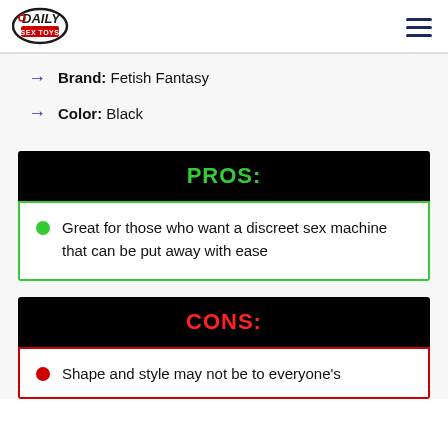Daily Sex Toys
Brand: Fetish Fantasy
Color: Black
PROS:
Great for those who want a discreet sex machine that can be put away with ease
CONS:
Shape and style may not be to everyone's